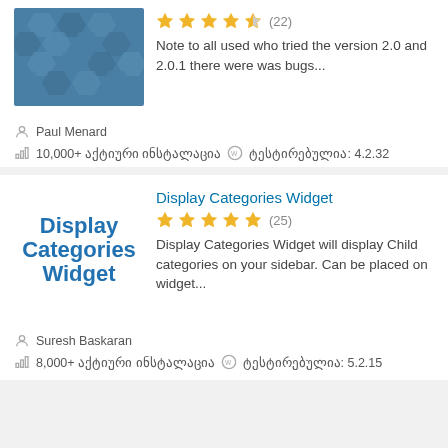[Figure (screenshot): Plugin card with blue hexagon pattern thumbnail, 4.5 star rating (22), and description text about version 2.0 bugs]
Note to all used who tried the version 2.0 and 2.0.1 there were was bugs...
Paul Menard
10,000+ აქტიური ინსტალაცია   WordPress   ტესტირებულია: 4.2.32
Display Categories Widget
[Figure (screenshot): Display Categories Widget plugin card with text logo thumbnail, 5 star rating (25), and description]
Display Categories Widget will display Child categories on your sidebar. Can be placed on widget...
Suresh Baskaran
8,000+ აქტიური ინსტალაცია   WordPress   ტესტირებულია: 5.2.15